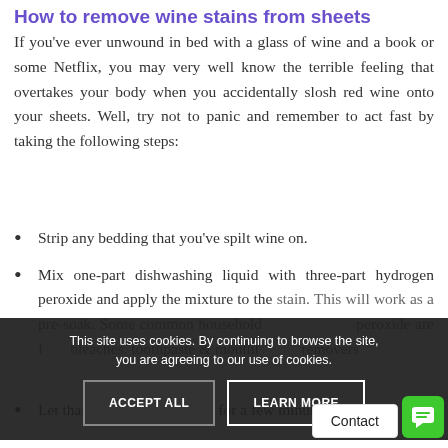How to remove wine stains from sheets
If you've ever unwound in bed with a glass of wine and a book or some Netflix, you may very well know the terrible feeling that overtakes your body when you accidentally slosh red wine onto your sheets. Well, try not to panic and remember to act fast by taking the following steps:
Strip any bedding that you've spilt wine on.
Mix one-part dishwashing liquid with three-part hydrogen peroxide and apply the mixture to the stain. This will work as a pre-soak. Some common household... peroxide are f... bleaches, toothpaste & mouthw... removers...
Let that cleaning solution sit for a few minutes.
You should be able to see the stain fading. If you...
This site uses cookies. By continuing to browse the site, you are agreeing to our use of cookies.
ACCEPT ALL
LEARN MORE
Contact